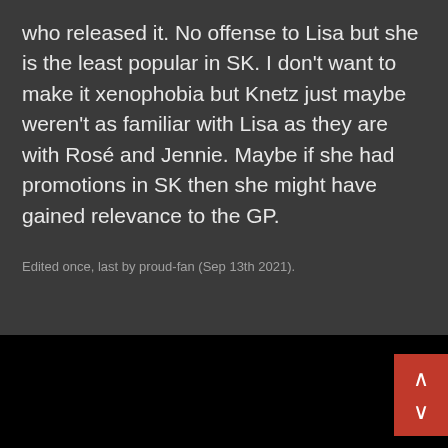who released it. No offense to Lisa but she is the least popular in SK. I don't want to make it xenophobia but Knetz just maybe weren't as familiar with Lisa as they are with Rosé and Jennie. Maybe if she had promotions in SK then she might have gained relevance to the GP.
Edited once, last by proud-fan (Sep 13th 2021).
[Figure (screenshot): Black background section with red scroll up/down navigation buttons on the right side]
This site uses cookies. By continuing to browse this site, you are agreeing to our use of cookies.